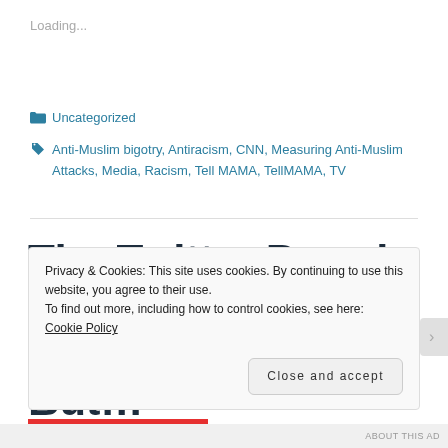Loading...
Uncategorized
Anti-Muslim bigotry, Antiracism, CNN, Measuring Anti-Muslim Attacks, Media, Racism, Tell MAMA, TellMAMA, TV
The Twitter Parody Of "I'm Not Racist, But…"
Privacy & Cookies: This site uses cookies. By continuing to use this website, you agree to their use.
To find out more, including how to control cookies, see here: Cookie Policy
Close and accept